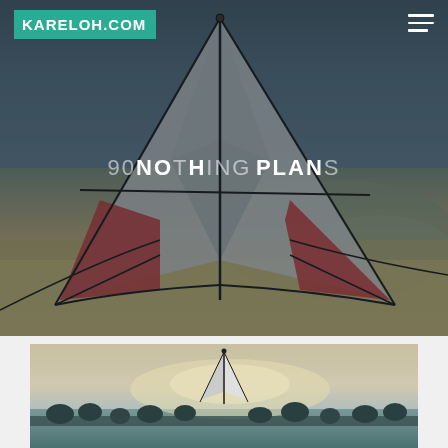[Figure (photo): Hero image showing a large stunt kite with white, grey and red panels on a sandy beach with dunes and overcast sky in the background. The kite has dramatic triangular sail panels and curved spreader spars.]
KARELOH.COM
90NOTHING PLANS
[Figure (photo): Second photo showing the same or similar stunt kite on a beach at dusk/dawn with a bright sky and silhouetted trees in the background.]